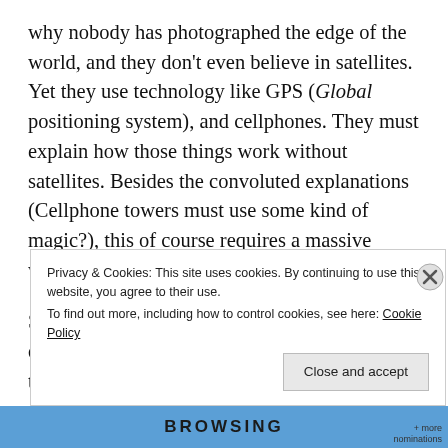why nobody has photographed the edge of the world, and they don't even believe in satellites. Yet they use technology like GPS (Global positioning system), and cellphones. They must explain how those things work without satellites. Besides the convoluted explanations (Cellphone towers must use some kind of magic?), this of course requires a massive worldwide conspiracy.
So that answers the second question… They do, of course, use similar logic to hang on to their worldviews.
The late, great Carl Sagan explained how this kind of
Privacy & Cookies: This site uses cookies. By continuing to use this website, you agree to their use.
To find out more, including how to control cookies, see here: Cookie Policy
Close and accept